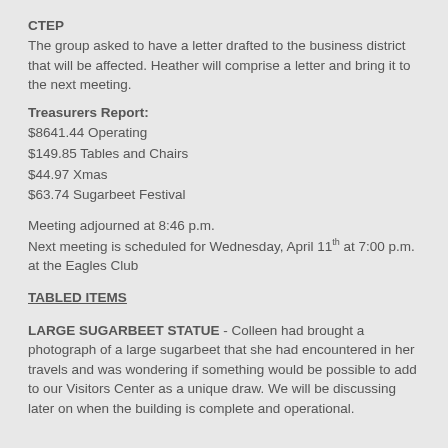CTEP
The group asked to have a letter drafted to the business district that will be affected.  Heather will comprise a letter and bring it to the next meeting.
Treasurers Report:
$8641.44 Operating
$149.85 Tables and Chairs
$44.97 Xmas
$63.74 Sugarbeet Festival
Meeting adjourned at 8:46 p.m.
Next meeting is scheduled for Wednesday, April 11th at 7:00 p.m. at the Eagles Club
TABLED ITEMS
LARGE SUGARBEET STATUE - Colleen had brought a photograph of a large sugarbeet that she had encountered in her travels and was wondering if something would be possible to add to our Visitors Center as a unique draw. We will be discussing later on when the building is complete and operational.